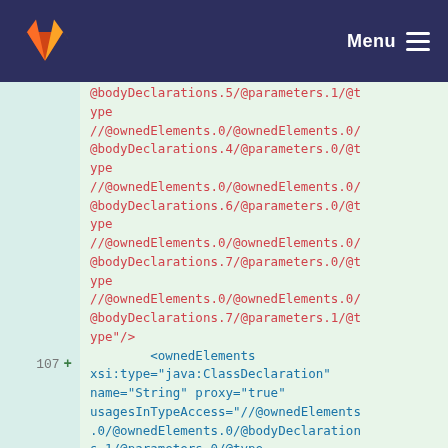GitLab — Menu
@bodyDeclarations.5/@parameters.1/@type
//@ownedElements.0/@ownedElements.0/@bodyDeclarations.4/@parameters.0/@type
//@ownedElements.0/@ownedElements.0/@bodyDeclarations.6/@parameters.0/@type
//@ownedElements.0/@ownedElements.0/@bodyDeclarations.7/@parameters.0/@type
//@ownedElements.0/@ownedElements.0/@bodyDeclarations.7/@parameters.1/@type"/>
        <ownedElements xsi:type="java:ClassDeclaration" name="String" proxy="true" usagesInTypeAccess="//@ownedElements.0/@ownedElements.0/@bodyDeclarations.1/@parameters.0/@type
//@ownedElements.0/@ownedElements.0/